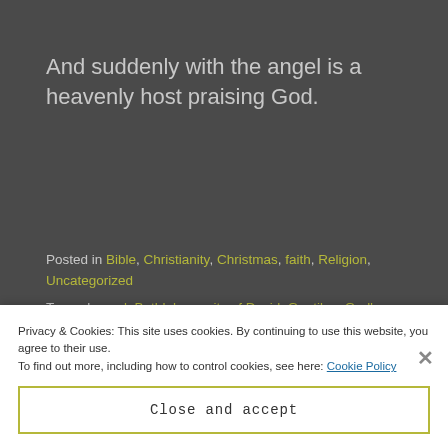And suddenly with the angel is a heavenly host praising God.
Posted in Bible, Christianity, Christmas, faith, Religion, Uncategorized
Tagged angel, Bethlehem, city of David, Gentiles, God's favor, good news, Israel, Jesus, Joseph, manger, Mary, shepherds, shepherds in fields at night
Privacy & Cookies: This site uses cookies. By continuing to use this website, you agree to their use.
To find out more, including how to control cookies, see here: Cookie Policy
Close and accept